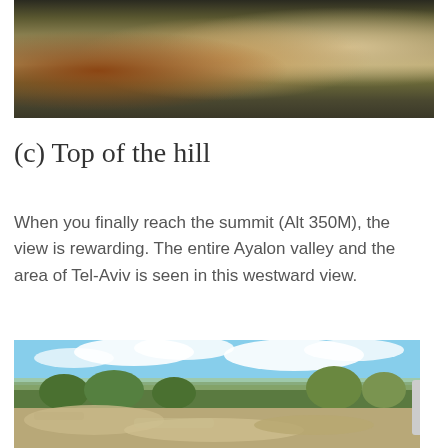[Figure (photo): Top portion of a rocky hillside trail with dry vegetation and exposed limestone rocks]
(c) Top of the hill
When you finally reach the summit (Alt 350M), the view is rewarding. The entire Ayalon valley and the area of Tel-Aviv is seen in this westward view.
[Figure (photo): Panoramic westward view from the hilltop showing blue sky with white clouds, distant valley with green trees and fields, and rocky limestone foreground with sparse vegetation]